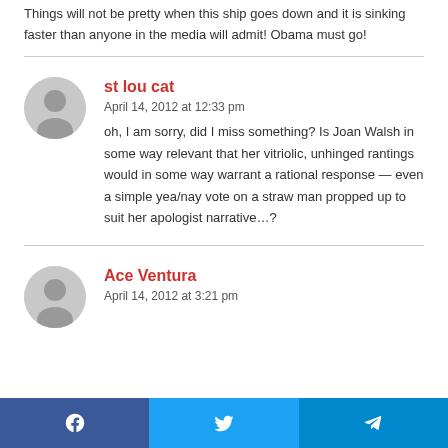Things will not be pretty when this ship goes down and it is sinking faster than anyone in the media will admit! Obama must go!
st lou cat
April 14, 2012 at 12:33 pm
oh, I am sorry, did I miss something? Is Joan Walsh in some way relevant that her vitriolic, unhinged rantings would in some way warrant a rational response — even a simple yea/nay vote on a straw man propped up to suit her apologist narrative…?
Ace Ventura
April 14, 2012 at 3:21 pm